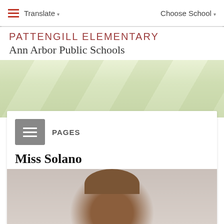≡ Translate ▾    Choose School ▾
PATTENGILL ELEMENTARY
Ann Arbor Public Schools
[Figure (photo): Faded green outdoor/garden hero banner image]
PAGES
Miss Solano Third Grade
[Figure (photo): Partial photo of a person (teacher) from the shoulders up, brown hair visible, taken indoors]